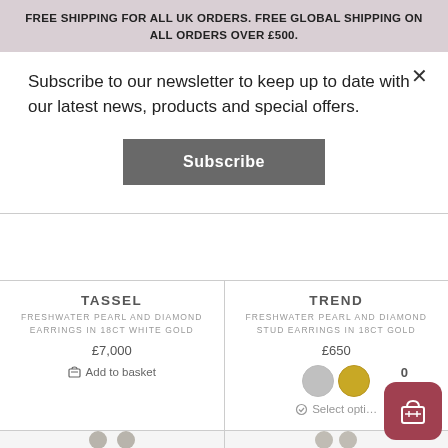FREE SHIPPING FOR ALL UK ORDERS. FREE GLOBAL SHIPPING ON ALL ORDERS OVER £500.
Subscribe to our newsletter to keep up to date with our latest news, products and special offers.
Subscribe
TASSEL
FRESHWATER PEARL AND DIAMOND EARRINGS IN 18CT WHITE GOLD
£7,000
Add to basket
TREND
FRESHWATER PEARL AND DIAMOND STUD EARRINGS IN 18CT GOLD
£650
Select options